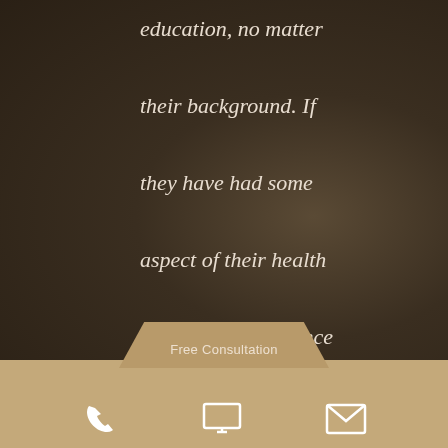education, no matter their background. If they have had some aspect of their health or their independence taken from them, there's nothing more important than standing up for them."
~ Tom Sinas
[Figure (infographic): Dark brown background with quote text, a tan trapezoid tab labeled 'Free Consultation', a tan footer bar with phone, monitor, and envelope icon buttons]